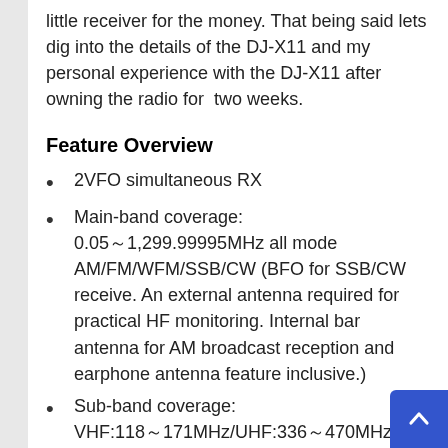little receiver for the money. That being said lets dig into the details of the DJ-X11 and my personal experience with the DJ-X11 after owning the radio for  two weeks.
Feature Overview
2VFO simultaneous RX
Main-band coverage: 0.05～1,299.99995MHz all mode AM/FM/WFM/SSB/CW (BFO for SSB/CW receive. An external antenna required for practical HF monitoring. Internal bar antenna for AM broadcast reception and earphone antenna feature inclusive.)
Sub-band coverage: VHF:118～171MHz/UHF:336～470MHz in